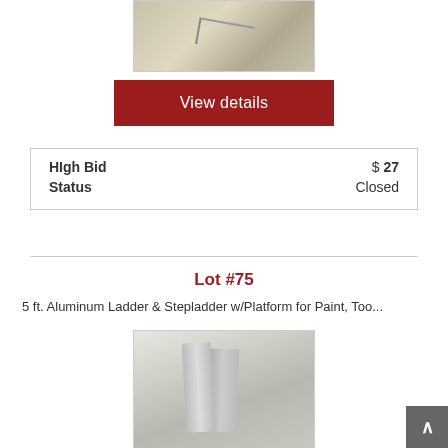[Figure (photo): Partial photo of an item on carpet background]
View details
| High Bid | $ 27 |
| Status | Closed |
Lot #75
5 ft. Aluminum Ladder & Stepladder w/Platform for Paint, Too...
[Figure (photo): Photo of aluminum ladders leaning against a wall]